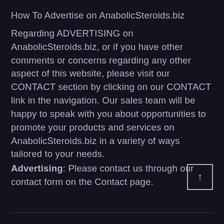How To Advertise on AnabolicSteroids.biz
Regarding ADVERTISING on AnabolicSteroids.biz, or if you have other comments or concerns regarding any other aspect of this website, please visit our CONTACT section by clicking on our CONTACT link in the navigation. Our sales team will be happy to speak with you about opportunities to promote your products and services on AnabolicSteroids.biz in a variety of ways tailored to your needs.
Advertising: Please contact us through our contact form on the Contact page.
[Figure (other): Back to top button: a square with an upward arrow inside]